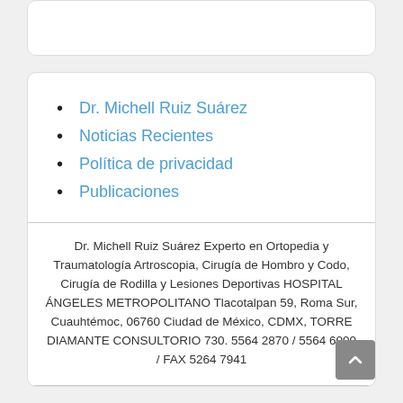Dr. Michell Ruiz Suárez
Noticias Recientes
Política de privacidad
Publicaciones
Dr. Michell Ruiz Suárez Experto en Ortopedia y Traumatología Artroscopia, Cirugía de Hombro y Codo, Cirugía de Rodilla y Lesiones Deportivas HOSPITAL ÁNGELES METROPOLITANO Tlacotalpan 59, Roma Sur, Cuauhtémoc, 06760 Ciudad de México, CDMX, TORRE DIAMANTE CONSULTORIO 730. 5564 2870 / 5564 6000 / FAX 5264 7941